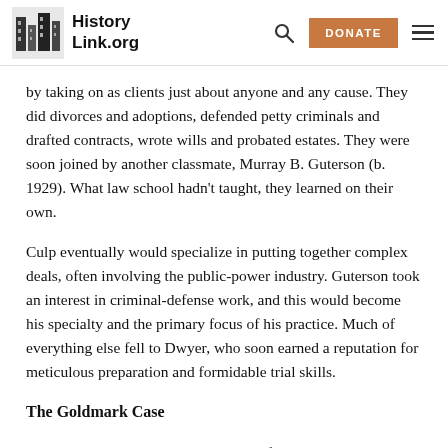HistoryLink.org
by taking on as clients just about anyone and any cause. They did divorces and adoptions, defended petty criminals and drafted contracts, wrote wills and probated estates. They were soon joined by another classmate, Murray B. Guterson (b. 1929). What law school hadn't taught, they learned on their own.
Culp eventually would specialize in putting together complex deals, often involving the public-power industry. Guterson took an interest in criminal-defense work, and this would become his specialty and the primary focus of his practice. Much of everything else fell to Dwyer, who soon earned a reputation for meticulous preparation and formidable trial skills.
The Goldmark Case
Bill Dwyer would litigate several significant and newsworthy cases over his career, but for human drama and political